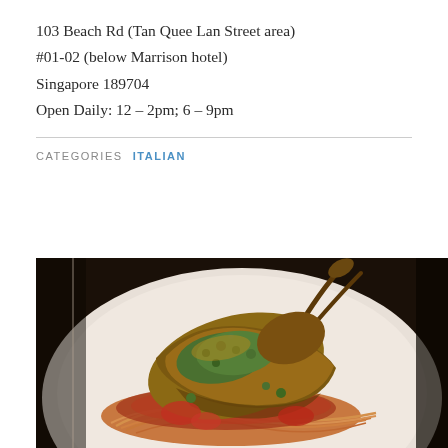103 Beach Rd (Tan Quee Lan Street area)
#01-02 (below Marrison hotel)
Singapore 189704
Open Daily: 12 – 2pm; 6 – 9pm
CATEGORIES  ITALIAN
[Figure (photo): A plate of pasta (spaghetti) topped with a large prawn/lobster in a rich tomato sauce, garnished with fresh herbs, served in a white bowl. The photo is taken in a restaurant setting.]